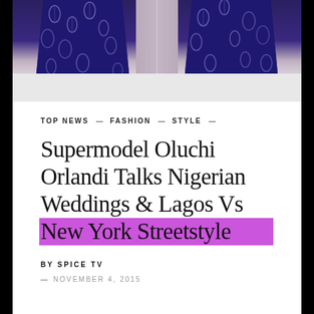[Figure (photo): Top portion of photo showing two figures wearing deep blue/navy patterned fabric garments, with a silvery gray fabric visible in the center, standing on a light tiled floor. Only the lower portions of the garments are visible.]
TOP NEWS — FASHION — STYLE —
Supermodel Oluchi Orlandi Talks Nigerian Weddings & Lagos Vs New York Streetstyle
BY SPICE TV
— NOVEMBER 4, 2015